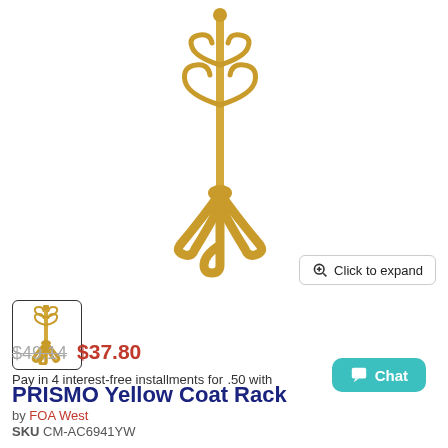[Figure (photo): Yellow wooden coat rack with tripod base, shown on white background]
[Figure (photo): Small thumbnail of the same yellow coat rack]
PRISMO Yellow Coat Rack
by FOA West
SKU CM-AC6941YW
$49.14  $37.80
Pay in 4 interest-free installments for  .50 with